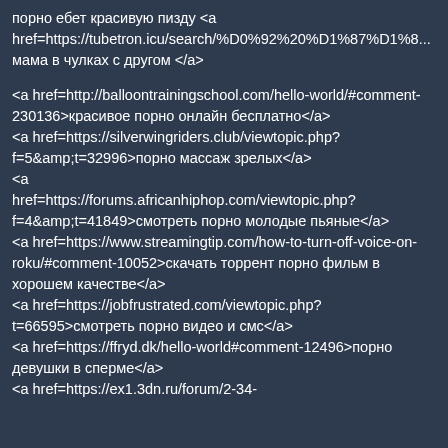порно ебет красивую пизду &lt;a href=https://tubetron.icu/search/%D0%92%20%D1%87%D1%8... мама в чулках с другом &lt;/a&gt;

&lt;a href=http://balloontrainingschool.com/hello-world/#comment-230136&gt;красивое порно онлайн бесплатно&lt;/a&gt;
&lt;a href=https://silverwingriders.club/viewtopic.php?f=5&amp;t=32996&gt;порно массаж зрелых&lt;/a&gt;
&lt;a href=https://forums.africanhiphop.com/viewtopic.php?f=4&amp;t=41849&gt;смотреть порно молодые пьяные&lt;/a&gt;
&lt;a href=https://www.streamingtip.com/how-to-turn-off-voice-on-roku/#comment-10052&gt;скачать торрент порно фильм в хорошем качестве&lt;/a&gt;
&lt;a href=https://jobfrustrated.com/viewtopic.php?t=66595&gt;смотреть порно видео и смс&lt;/a&gt;
&lt;a href=https://ffryd.dk/hello-world#comment-12496&gt;порно девушки в сперме&lt;/a&gt;
&lt;a href=https://ex1.3dn.ru/forum/2-34-...